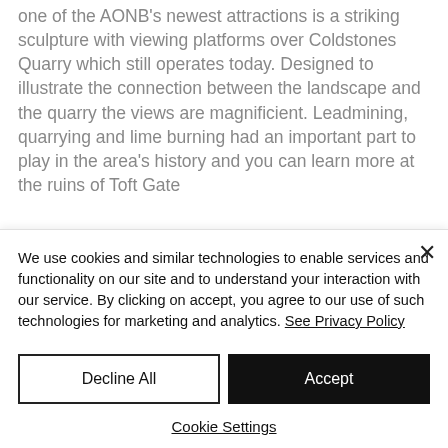one of the AONB's newest attractions is a striking sculpture with viewing platforms over Coldstones Quarry which still operates today. Designed to illustrate the connection between the landscape and the quarry the views are magnificient. Leadmining, quarrying and lime burning had an important part to play in the area's history and you can learn more at the ruins of Toft Gate
We use cookies and similar technologies to enable services and functionality on our site and to understand your interaction with our service. By clicking on accept, you agree to our use of such technologies for marketing and analytics. See Privacy Policy